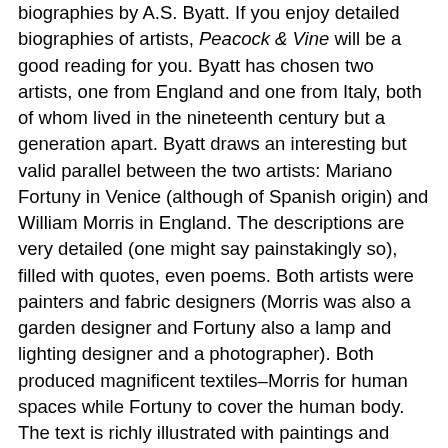biographies by A.S. Byatt. If you enjoy detailed biographies of artists, Peacock & Vine will be a good reading for you. Byatt has chosen two artists, one from England and one from Italy, both of whom lived in the nineteenth century but a generation apart. Byatt draws an interesting but valid parallel between the two artists: Mariano Fortuny in Venice (although of Spanish origin) and William Morris in England. The descriptions are very detailed (one might say painstakingly so), filled with quotes, even poems. Both artists were painters and fabric designers (Morris was also a garden designer and Fortuny also a lamp and lighting designer and a photographer). Both produced magnificent textiles–Morris for human spaces while Fortuny to cover the human body. The text is richly illustrated with paintings and photographs, but the book design would've improved considerably if the illustrations carried captions. The descriptions are given at the end of the book, a major inconvenience for the